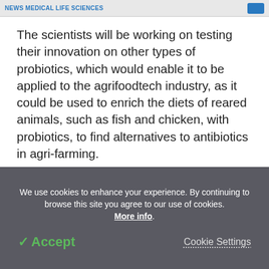NEWS MEDICAL LIFE SCIENCES
The scientists will be working on testing their innovation on other types of probiotics, which would enable it to be applied to the agrifoodtech industry, as it could be used to enrich the diets of reared animals, such as fish and chicken, with probiotics, to find alternatives to antibiotics in agri-farming.
[Figure (other): News Medical Life Sciences advertisement banner: Sign up to our Targeted Newsletters]
ADVERTISEMENT
We use cookies to enhance your experience. By continuing to browse this site you agree to our use of cookies. More info.
✓ Accept   Cookie Settings